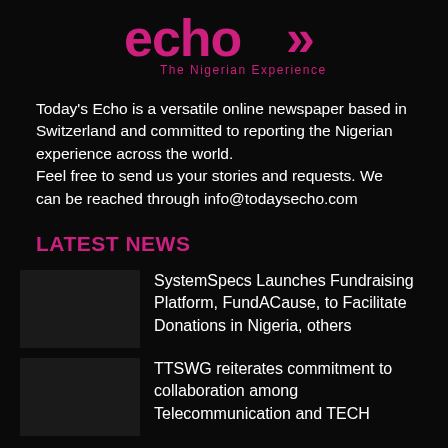[Figure (logo): Today's Echo logo — stylized pink/magenta text 'echo' with double angle-bracket chevron, tagline 'The Nigerian Experience' in pink below]
Today's Echo is a versatile online newspaper based in Switzerland and committed to reporting the Nigerian experience across the world.
Feel free to send us your stories and requests. We can be reached through info@todaysecho.com
LATEST NEWS
SystemSpecs Launches Fundraising Platform, FundACause, to Facilitate Donations in Nigeria, others
TTSWG reiterates commitment to collaboration among Telecommunication and TECH